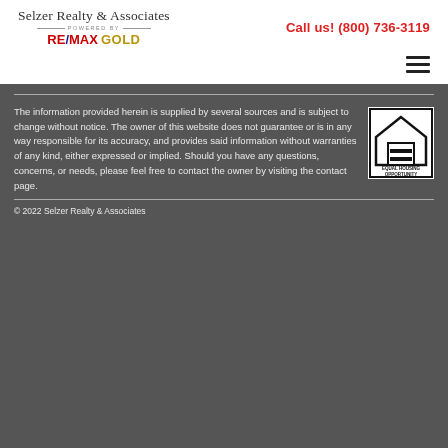[Figure (logo): Selzer Realty & Associates logo with RE/MAX GOLD powered by branding]
Call us! (800) 736-3119
[Figure (illustration): Hamburger menu icon (three horizontal lines)]
The information provided herein is supplied by several sources and is subject to change without notice. The owner of this website does not guarantee or is in any way responsible for its accuracy, and provides said information without warranties of any kind, either expressed or implied. Should you have any questions, concerns, or needs, please feel free to contact the owner by visiting the contact page.
[Figure (logo): Equal Housing Opportunity logo — house with equal sign]
© 2022 Selzer Realty & Associates